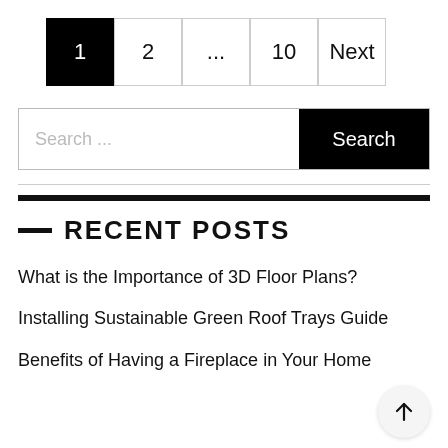Pagination: 1 (active), 2, ..., 10, Next
Search ...
RECENT POSTS
What is the Importance of 3D Floor Plans?
Installing Sustainable Green Roof Trays Guide
Benefits of Having a Fireplace in Your Home